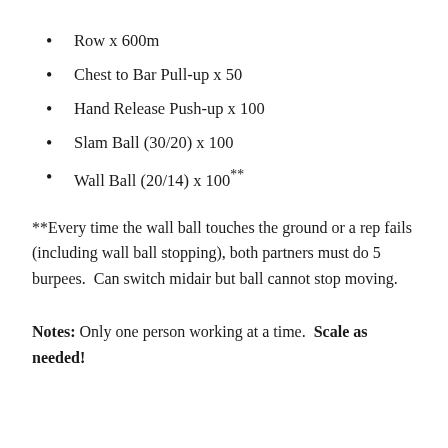Row x 600m
Chest to Bar Pull-up x 50
Hand Release Push-up x 100
Slam Ball (30/20) x 100
Wall Ball (20/14) x 100**
**Every time the wall ball touches the ground or a rep fails (including wall ball stopping), both partners must do 5 burpees.  Can switch midair but ball cannot stop moving.
Notes: Only one person working at a time.  Scale as needed!